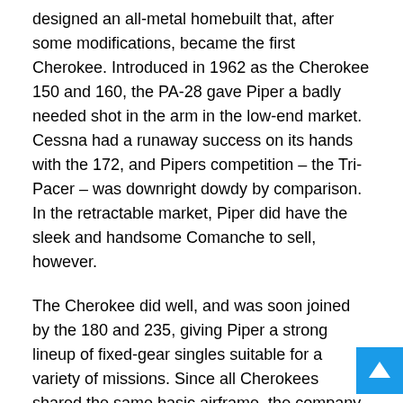designed an all-metal homebuilt that, after some modifications, became the first Cherokee. Introduced in 1962 as the Cherokee 150 and 160, the PA-28 gave Piper a badly needed shot in the arm in the low-end market. Cessna had a runaway success on its hands with the 172, and Pipers competition – the Tri-Pacer – was downright dowdy by comparison. In the retractable market, Piper did have the sleek and handsome Comanche to sell, however.
The Cherokee did well, and was soon joined by the 180 and 235, giving Piper a strong lineup of fixed-gear singles suitable for a variety of missions. Since all Cherokees shared the same basic airframe, the company was also able to realize some manufacturing economies.
By the mid-1960s, Piper began considering the PA-28 as a candidate for penetration into the light four-place retractable market. At the time, Mooney effectively owned that niche...